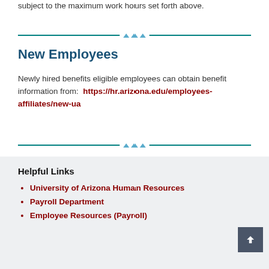subject to the maximum work hours set forth above.
New Employees
Newly hired benefits eligible employees can obtain benefit information from:  https://hr.arizona.edu/employees-affiliates/new-ua
Helpful Links
University of Arizona Human Resources
Payroll Department
Employee Resources (Payroll)